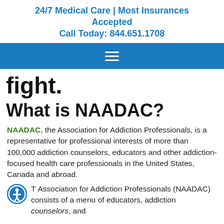24/7 Medical Care | Most Insurances Accepted
Call Today: 844.651.1708
[Figure (other): Blue navigation bar with hamburger menu icon (three white horizontal lines)]
fight.
What is NAADAC?
NAADAC, the Association for Addiction Professionals, is a representative for professional interests of more than 100,000 addiction counselors, educators and other addiction-focused health care professionals in the United States, Canada and abroad.
The Association for Addiction Professionals (NAADAC) consists of a menu of educators, addiction counselors, and